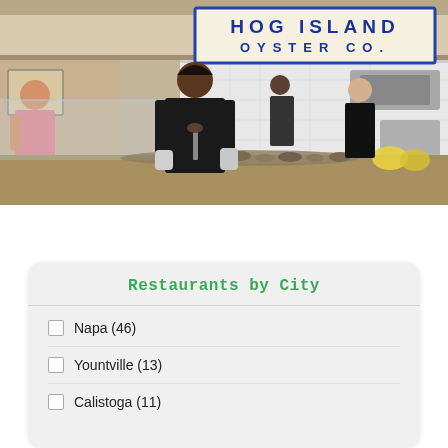[Figure (photo): Interior photo of Hog Island Oyster Co. restaurant showing a worker shucking oysters at a counter with the restaurant sign visible overhead reading HOG ISLAND OYSTER CO.]
Restaurants by City
Napa (46)
Yountville (13)
Calistoga (11)